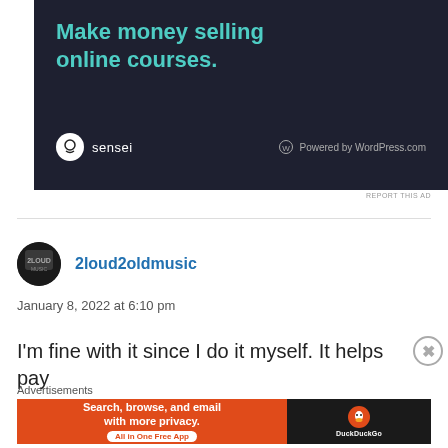[Figure (screenshot): Advertisement banner with dark background showing 'Make money selling online courses.' in teal text, with sensei logo and 'Powered by WordPress.com' at the bottom]
REPORT THIS AD
2loud2oldmusic
January 8, 2022 at 6:10 pm
I'm fine with it since I do it myself. It helps pay
Advertisements
[Figure (screenshot): DuckDuckGo advertisement: orange background with text 'Search, browse, and email with more privacy. All in One Free App' with DuckDuckGo duck logo on dark background]